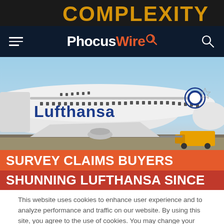[Figure (screenshot): Top dark banner with 'COMPLEXITY' text in orange/gold on black background]
PhocusWire
[Figure (photo): Lufthansa Boeing 747 aircraft on tarmac with blue sky background]
SURVEY CLAIMS BUYERS SHUNNING LUFTHANSA SINCE
This website uses cookies to enhance user experience and to analyze performance and traffic on our website. By using this site, you agree to the use of cookies. You may change your cookie settings at any time, but the site may not function